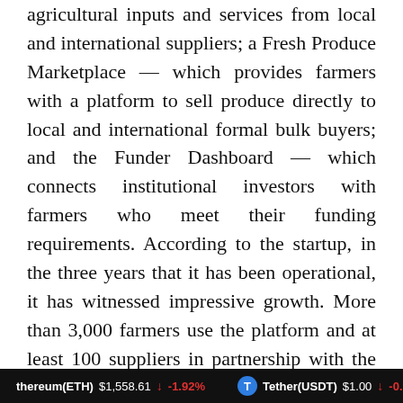agricultural inputs and services from local and international suppliers; a Fresh Produce Marketplace — which provides farmers with a platform to sell produce directly to local and international formal bulk buyers; and the Funder Dashboard — which connects institutional investors with farmers who meet their funding requirements. According to the startup, in the three years that it has been operational, it has witnessed impressive growth. More than 3,000 farmers use the platform and at least 100 suppliers in partnership with the startup.
Ethereum(ETH) $1,558.61 ↓ -1.92%   Tether(USDT) $1.00 ↓ -0.1...